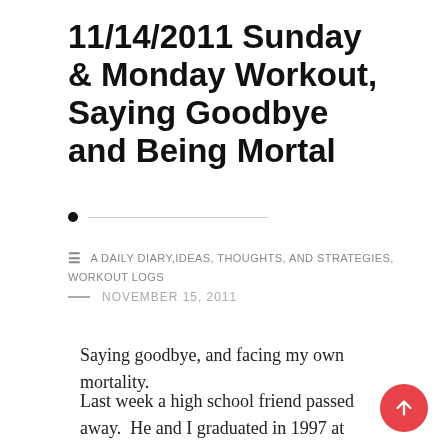11/14/2011 Sunday & Monday Workout, Saying Goodbye and Being Mortal
A DAILY DIARY,IDEAS, THOUGHTS, AND STRATEGIES, WORKOUT LOGS
NOVEMBER 15, 2011
Saying goodbye, and facing my own mortality.
Last week a high school friend passed away.  He and I graduated in 1997 at Gonzaga College High School, an all male Jesuit Run preparatory school in Washington, DC.  It sits behind The Capitol Building, on Eye Street, NW, the first...